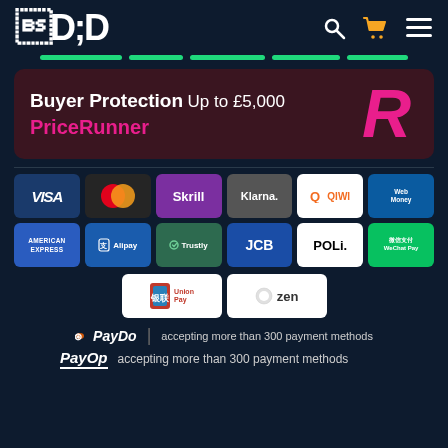D (logo) with search, cart, and menu icons
[Figure (infographic): Green progress bar with 5 segments]
[Figure (infographic): Buyer Protection Up to £5,000 PriceRunner banner with R logo]
[Figure (infographic): Payment method logos: VISA, Mastercard, Skrill, Klarna, QIWI, WebMoney, American Express, Alipay, Trustly, JCB, POLi, WeChat Pay, UnionPay, Zen]
PayDo | accepting more than 300 payment methods
PayOp accepting more than 300 payment methods